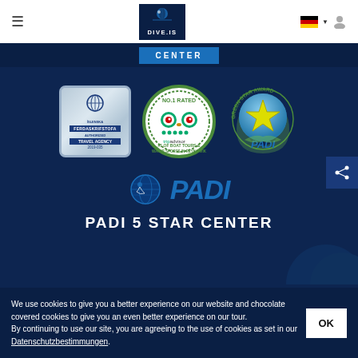[Figure (screenshot): Website navigation bar with hamburger menu, DIVE.IS logo, German flag language selector, and user icon]
[Figure (screenshot): Blue navigation tab showing CENTER label]
[Figure (logo): Ferdaskrifstofa Authorized Travel Agency 2019-035 badge]
[Figure (logo): TripAdvisor No.1 Rated #1 of Boat Tours & Water Sports in Reykjavik badge]
[Figure (logo): PADI Green Star Award badge]
[Figure (logo): PADI 5 Star Center logo with globe icon]
PADI 5 STAR CENTER
We use cookies to give you a better experience on our website and chocolate covered cookies to give you an even better experience on our tour.
By continuing to use our site, you are agreeing to the use of cookies as set in our Datenschutzbestimmungen.